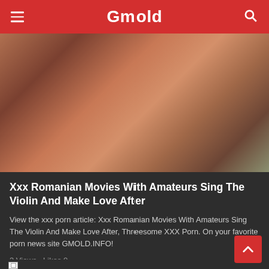Gmold
[Figure (photo): Outdoor adult content photo with tattooed woman with pink hair]
Xxx Romanian Movies With Amateurs Sing The Violin And Make Love After
View the xxx porn article: Xxx Romanian Movies With Amateurs Sing The Violin And Make Love After, Threesome XXX Porn. On your favorite porn news site GMOLD.INFO!
3 Views · Likes 0
[Figure (photo): Second article thumbnail - broken image placeholder with dark background]